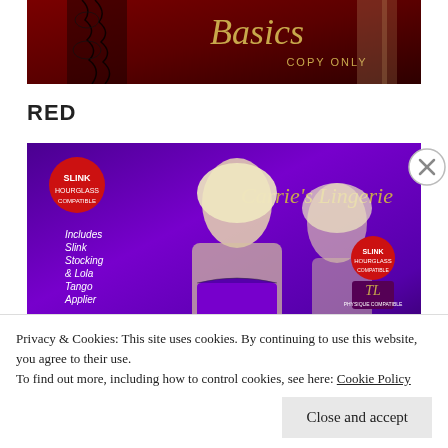[Figure (photo): Product image showing lingerie with 'Basics - COPY ONLY' text in gold script on a dark red background, with lace stocking detail visible]
RED
[Figure (photo): Purple background promotional image for Carrie's Lingerie featuring a blonde female avatar model wearing purple and black lace lingerie. Text reads: Includes Slink Stocking & Lola Tango Applier. Slink and other compatibility logos visible.]
Privacy & Cookies: This site uses cookies. By continuing to use this website, you agree to their use.
To find out more, including how to control cookies, see here: Cookie Policy
Close and accept